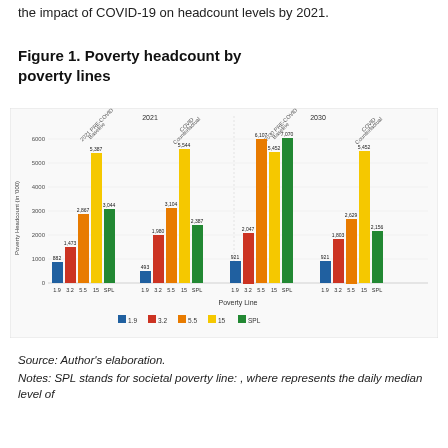the impact of COVID-19 on headcount levels by 2021.
Figure 1. Poverty headcount by poverty lines
[Figure (grouped-bar-chart): Figure 1. Poverty headcount by poverty lines]
Source: Author's elaboration.
Notes: SPL stands for societal poverty line: , where represents the daily median level of